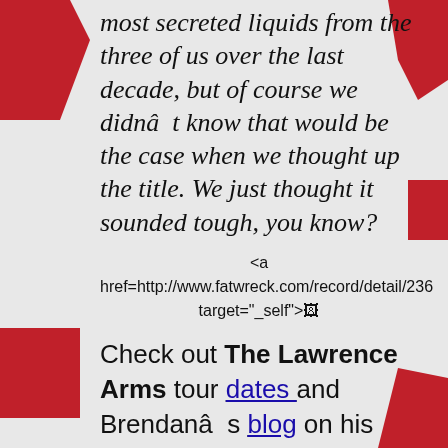most secreted liquids from the three of us over the last decade, but of course we didnât know that would be the case when we thought up the title. We just thought it sounded tough, you know?
<a href=http://www.fatwreck.com/record/detail/236 target="_self">[image]
Check out The Lawrence Arms tour dates and Brendanâs blog on his band and oh so much more.